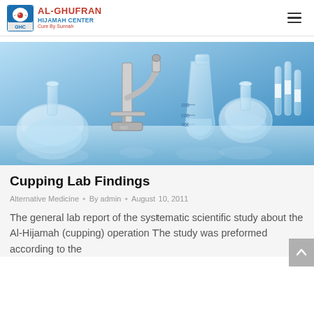AL-GHUFRAN HIJAMAH CENTER Cure By Sunnah
[Figure (photo): Laboratory glassware including flasks, beakers, a microscope, and test tubes on a reflective surface with a blue background]
Cupping Lab Findings
Alternative Medicine · By admin · August 10, 2011
The general lab report of the systematic scientific study about the Al-Hijamah (cupping) operation The study was preformed according to the